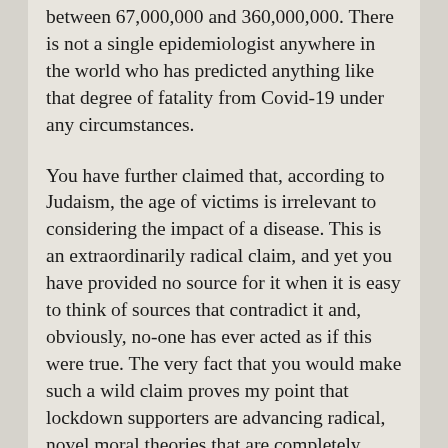between 67,000,000 and 360,000,000. There is not a single epidemiologist anywhere in the world who has predicted anything like that degree of fatality from Covid-19 under any circumstances.
You have further claimed that, according to Judaism, the age of victims is irrelevant to considering the impact of a disease. This is an extraordinarily radical claim, and yet you have provided no source for it when it is easy to think of sources that contradict it and, obviously, no-one has ever acted as if this were true. The very fact that you would make such a wild claim proves my point that lockdown supporters are advancing radical, novel moral theories that are completely alien to human civilization up till now.
Thirdly, according to the WHO between